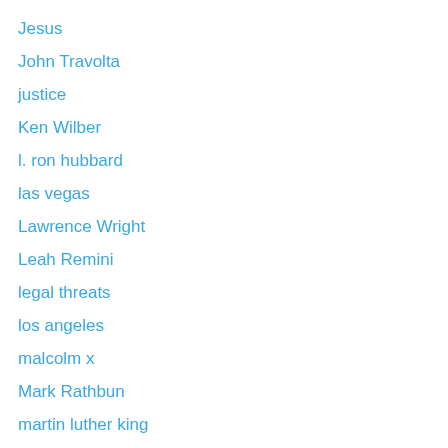Jesus
John Travolta
justice
Ken Wilber
l. ron hubbard
las vegas
Lawrence Wright
Leah Remini
legal threats
los angeles
malcolm x
Mark Rathbun
martin luther king
Marty Rathbun
Memoirs of a Scientology Warrior
mexico
miscavige crimes
miscavige lawyers
missions
Monique Banks Rathbun